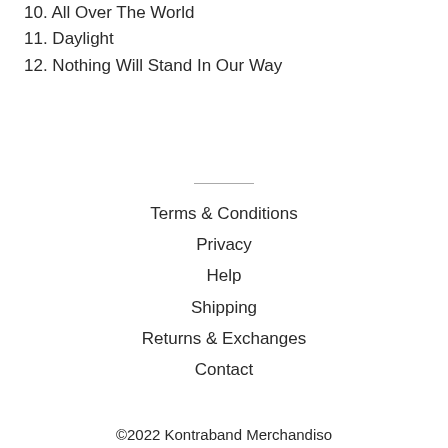10. All Over The World
11. Daylight
12. Nothing Will Stand In Our Way
Terms & Conditions
Privacy
Help
Shipping
Returns & Exchanges
Contact
©2022 Kontraband Merchandiso